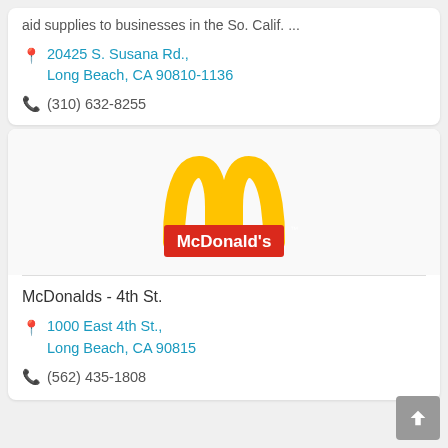aid supplies to businesses in the So. Calif. ...
20425 S. Susana Rd., Long Beach, CA 90810-1136
(310) 632-8255
[Figure (logo): McDonald's golden arches logo with red banner and white text reading McDonald's with TM superscript]
McDonalds - 4th St.
1000 East 4th St., Long Beach, CA 90815
(562) 435-1808